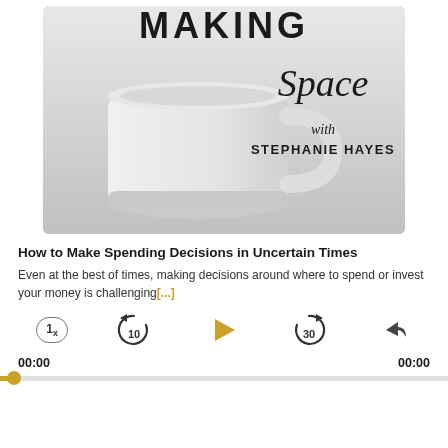[Figure (illustration): Podcast cover art for 'Making Space with Stephanie Hayes' — shows a white ceramic mug on a light gray background with large bold text 'MAKING' at top, cursive 'Space' below, then 'with STEPHANIE HAYES' in small caps]
How to Make Spending Decisions in Uncertain Times
Even at the best of times, making decisions around where to spend or invest your money is challenging[...]
[Figure (screenshot): Podcast audio player controls: speed button '1x', rewind 10s, play button (gold triangle), forward 30s, share button. Time stamps 00:00 and 00:00. Gold progress bar at bottom.]